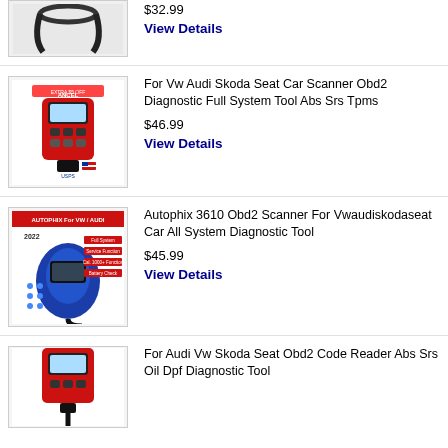[Figure (photo): Partial product image - cable/hose visible at top]
$32.99
View Details
[Figure (photo): Red OBD2 diagnostic scanner tool with ANCEL branding, EXTRA $5 OFF label, US flag, USPS logo]
For Vw Audi Skoda Seat Car Scanner Obd2 Diagnostic Full System Tool Abs Srs Tpms
$46.99
View Details
[Figure (photo): Blue and black Autophix 3610 OBD2 scanner tool with 2022 branding and For VW/AUDI label]
Autophix 3610 Obd2 Scanner For Vwaudiskodaseat Car All System Diagnostic Tool
$45.99
View Details
[Figure (photo): Red OBD2 diagnostic scanner tool, partial view at bottom of page]
For Audi Vw Skoda Seat Obd2 Code Reader Abs Srs Oil Dpf Diagnostic Tool